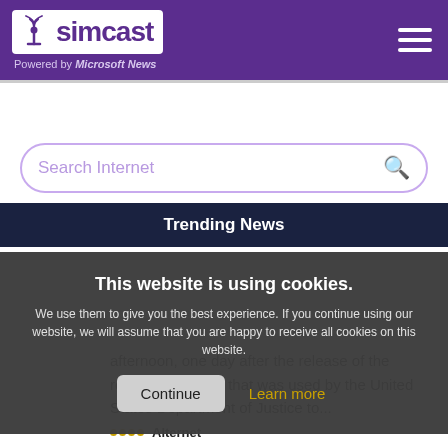[Figure (logo): Simcast logo with antenna icon, white on purple background, 'Powered by Microsoft News' text below]
Search Internet
Trending News
This website is using cookies.
We use them to give you the best experience. If you continue using our website, we will assume that you are happy to receive all cookies on this website.
Continue
Learn more
afternoon, one day after the release of the redacted affidavit that was used by the United States Department of Justice to...
Alternet